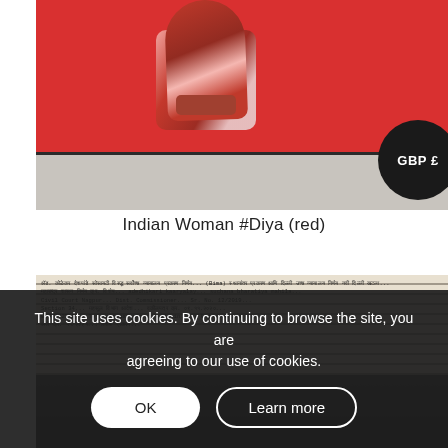[Figure (illustration): Painting of a woman in a red saree walking against a bright red background, with a grey ground at the bottom. A black circular badge with 'GBP £' text is overlaid on the lower right of the image.]
Indian Woman #Diya (red)
[Figure (photo): Partial view of a second artwork showing newspaper collage with dense text lines in the upper portion, transitioning to a dark background at the bottom.]
This site uses cookies. By continuing to browse the site, you are agreeing to our use of cookies.